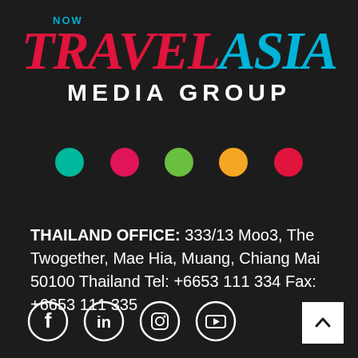[Figure (logo): Now Travel Asia Media Group logo on dark background with 'NOW' in cyan, 'TRAVEL' in red italic serif, 'ASIA' in cyan italic serif, and 'MEDIA GROUP' in white bold sans-serif, followed by five colored dots (teal, pink, green, orange, red)]
THAILAND OFFICE: 333/13 Moo3, The Twogether, Mae Hia, Muang, Chiang Mai 50100 Thailand Tel: +6653 111 334 Fax: +6653 111 335
[Figure (illustration): Social media icons row: Facebook, LinkedIn, Instagram, YouTube — white circle outline icons on dark background. Plus a white back-to-top arrow button at bottom right.]